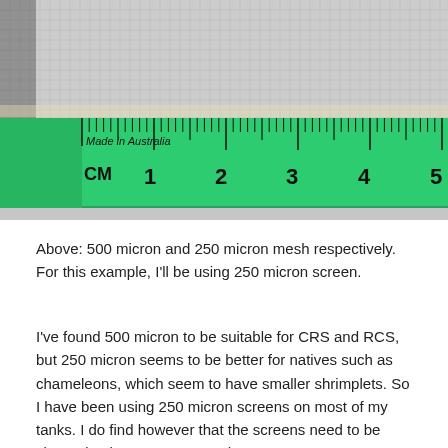[Figure (photo): Close-up photograph of a green ruler marked 'Made in Australia' showing CM markings from 1 to 5, placed against a white/grey fabric mesh background.]
Above: 500 micron and 250 micron mesh respectively. For this example, I'll be using 250 micron screen.
I've found 500 micron to be suitable for CRS and RCS, but 250 micron seems to be better for natives such as chameleons, which seem to have smaller shrimplets. So I have been using 250 micron screens on most of my tanks. I do find however that the screens need to be cleaned at least once a month to prevent